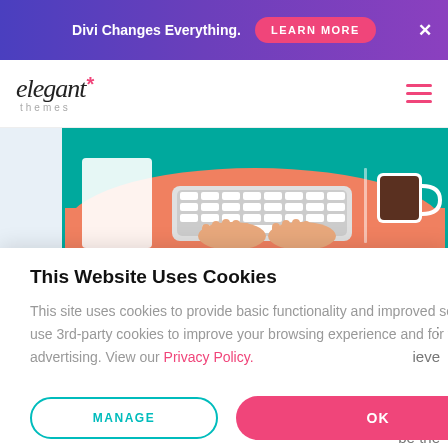Divi Changes Everything. LEARN MORE ×
[Figure (logo): Elegant Themes logo with asterisk and italic text]
[Figure (illustration): Top-down view of person typing on keyboard with coffee cup on teal desk]
This Website Uses Cookies
This site uses cookies to provide basic functionality and improved security. We also use 3rd-party cookies to improve your browsing experience and for targeted advertising. View our Privacy Policy.
MANAGE
OK